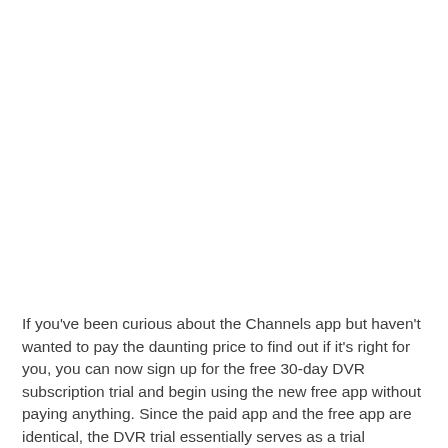If you've been curious about the Channels app but haven't wanted to pay the daunting price to find out if it's right for you, you can now sign up for the free 30-day DVR subscription trial and begin using the new free app without paying anything. Since the paid app and the free app are identical, the DVR trial essentially serves as a trial